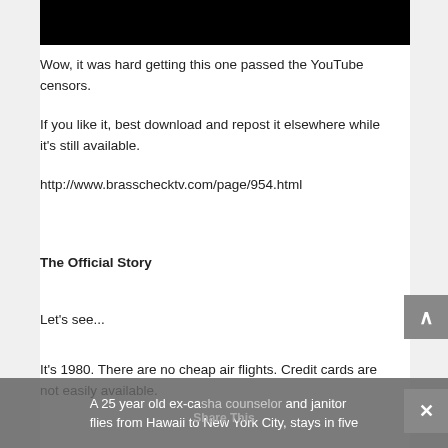[Figure (other): Black video embed block at top of page]
Wow, it was hard getting this one passed the YouTube censors.
If you like it, best download and repost it elsewhere while it's still available.
http://www.brasschecktv.com/page/954.html
The Official Story
Let's see...
It's 1980. There are no cheap air flights. Credit cards are not easily available.
A 25 year old ex-cash counselor and janitor flies from Hawaii to New York City, stays in five